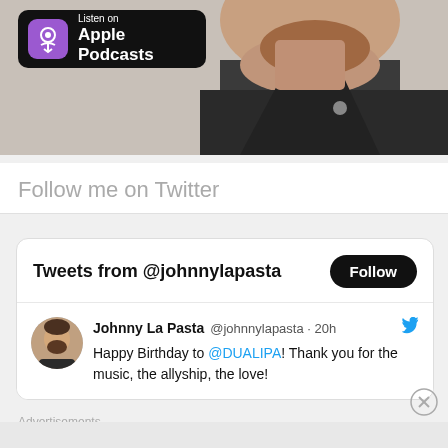[Figure (photo): Photo of a man with beard wearing dark jacket, cropped from chin downward, with Apple Podcasts badge overlaid in top-left]
Follow me on Twitter
[Figure (screenshot): Twitter widget showing Tweets from @johnnylapasta with Follow button and a tweet by Johnny La Pasta saying Happy Birthday to @DUALIPA! Thank you for the music, the allyship, the love!]
Advertisements